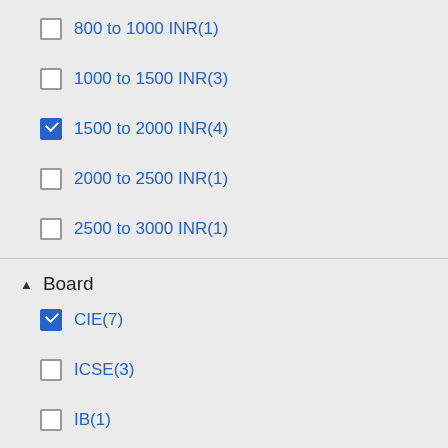800 to 1000 INR(1)
1000 to 1500 INR(3)
1500 to 2000 INR(4)
2000 to 2500 INR(1)
2500 to 3000 INR(1)
Board
CIE(7)
ICSE(3)
IB(1)